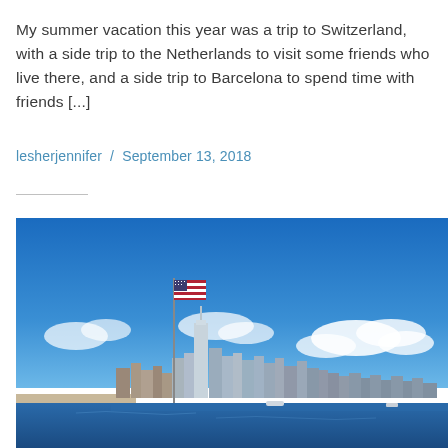My summer vacation this year was a trip to Switzerland, with a side trip to the Netherlands to visit some friends who live there, and a side trip to Barcelona to spend time with friends [...]
lesherjennifer / September 13, 2018
[Figure (photo): Panoramic photo of the New York City skyline viewed from across the water, with an American flag on a flagpole in the foreground-left. The sky is bright blue with scattered white clouds. The water in the foreground is deep blue.]